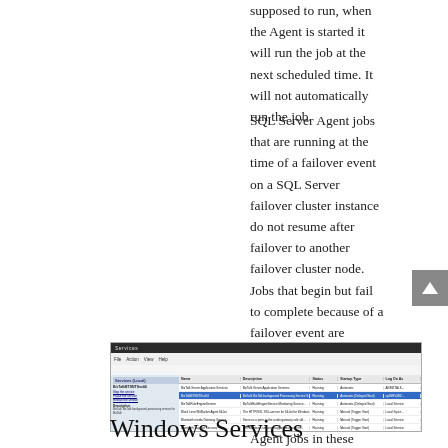supposed to run, when the Agent is started it will run the job at the next scheduled time. It will not automatically run the job.
SQL Server Agent jobs that are running at the time of a failover event on a SQL Server failover cluster instance do not resume after failover to another failover cluster node. Jobs that begin but fail to complete because of a failover event are logged as started but do not show additional log entries for completion or failure. SQL Server Agent jobs in these scenarios appear to have never ended. So if your server failover, you need to run this job again in the other node.
[Figure (screenshot): Screenshot of Windows Services manager showing a list of services including BizTalkBTSNTSvc64, Bluetooth services, and others with columns for Name, Description, Status, Startup Type, and Log On As.]
Windows Services